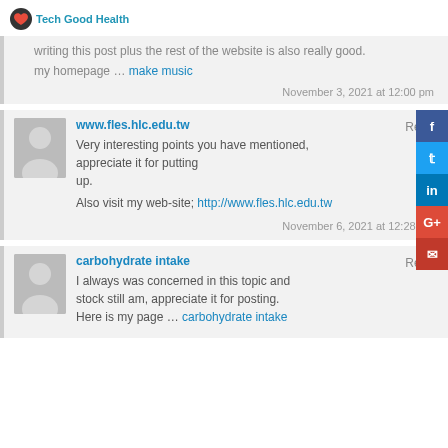Tech Good Health
writing this post plus the rest of the website is also really good.
my homepage … make music
November 3, 2021 at 12:00 pm
www.fles.hlc.edu.tw
Reply
Very interesting points you have mentioned, appreciate it for putting up.
Also visit my web-site; http://www.fles.hlc.edu.tw
November 6, 2021 at 12:28 am
carbohydrate intake
Reply
I always was concerned in this topic and stock still am, appreciate it for posting.
Here is my page … carbohydrate intake